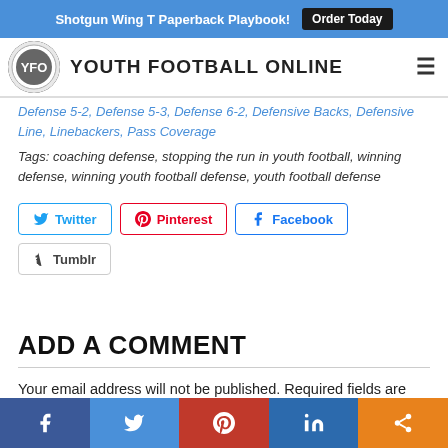Shotgun Wing T Paperback Playbook! Order Today
YOUTH FOOTBALL ONLINE
Defense 5-2, Defense 5-3, Defense 6-2, Defensive Backs, Defensive Line, Linebackers, Pass Coverage
Tags: coaching defense, stopping the run in youth football, winning defense, winning youth football defense, youth football defense
Twitter Pinterest Facebook Tumblr
ADD A COMMENT
Your email address will not be published. Required fields are marked *
f  (twitter bird)  (pinterest p)  in  (share icon)